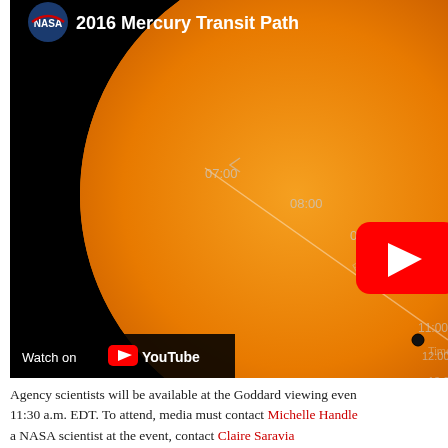[Figure (screenshot): YouTube video thumbnail showing NASA's 2016 Mercury Transit Path. The video shows Mercury's path across the orange sun disk with time labels (07:00, 08:00, 09:00, 10:00, 11:00, 12:00, 13:00 Eastern Daylight Time) along a diagonal line. A red YouTube play button is visible in the center. The NASA logo and '2016 Mercury Transit Path' title appear at the top. A 'Watch on YouTube' bar appears at the bottom left.]
Agency scientists will be available at the Goddard viewing event at 11:30 a.m. EDT. To attend, media must contact Michelle Handle a NASA scientist at the event, contact Claire Saravia